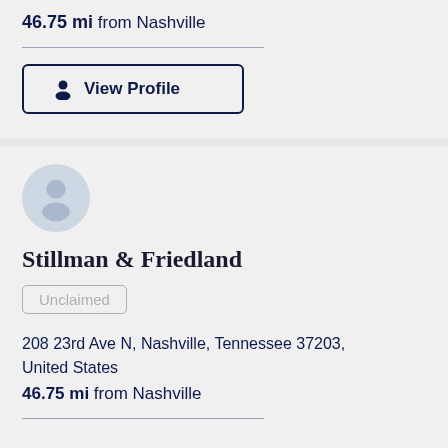46.75 mi from Nashville
View Profile
[Figure (illustration): Gray circular avatar with silhouette person icon for Stillman & Friedland law firm]
Stillman & Friedland
Unclaimed
208 23rd Ave N, Nashville, Tennessee 37203, United States
46.75 mi from Nashville